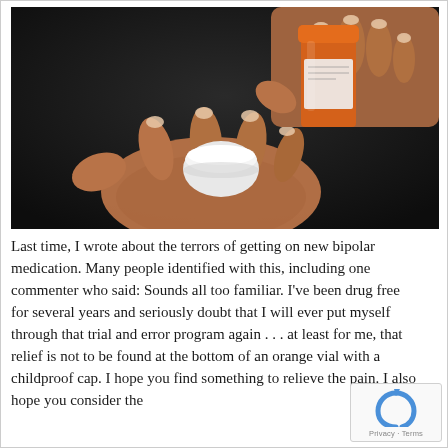[Figure (photo): Close-up photograph of two hands with manicured nails opening an orange prescription pill bottle cap against a dark background. One hand holds the bottle and the other holds the white childproof cap.]
Last time, I wrote about the terrors of getting on new bipolar medication. Many people identified with this, including one commenter who said: Sounds all too familiar. I've been drug free for several years and seriously doubt that I will ever put myself through that trial and error program again . . . at least for me, that relief is not to be found at the bottom of an orange vial with a childproof cap. I hope you find something to relieve the pain. I also hope you consider the